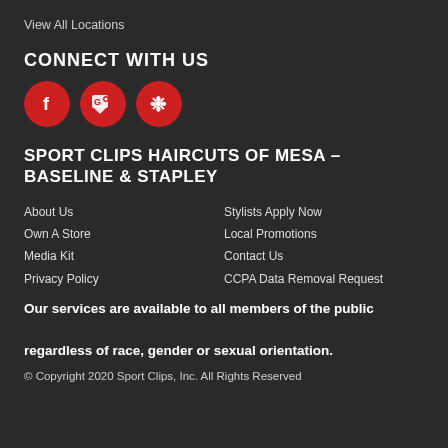View All Locations
CONNECT WITH US
[Figure (illustration): Three red circular social media icons: Facebook (f), Google Maps (pin icon), and Yelp (burst icon)]
SPORT CLIPS HAIRCUTS OF MESA – BASELINE & STAPLEY
About Us
Own A Store
Media Kit
Privacy Policy
Stylists Apply Now
Local Promotions
Contact Us
CCPA Data Removal Request
Our services are available to all members of the public regardless of race, gender or sexual orientation.
© Copyright 2020 Sport Clips, Inc. All Rights Reserved